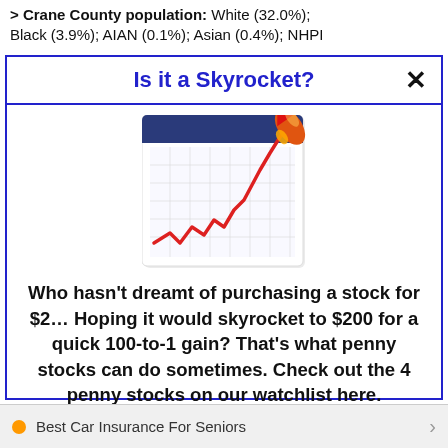> Crane County population: White (32.0%); Black (3.9%); AIAN (0.1%); Asian (0.4%); NHPI
Is it a Skyrocket?
[Figure (illustration): A calendar/chart icon showing a rising red zigzag line chart going up sharply, with a rocket launching off the top right corner, on a white grid background with dark blue header.]
Who hasn't dreamt of purchasing a stock for $2… Hoping it would skyrocket to $200 for a quick 100-to-1 gain? That's what penny stocks can do sometimes. Check out the 4 penny stocks on our watchlist here.
>>> See The List <<<
Best Car Insurance For Seniors